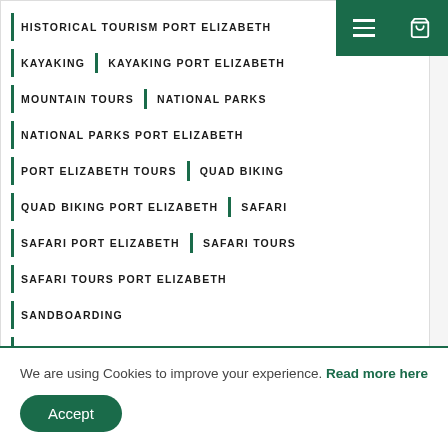HISTORICAL TOURISM PORT ELIZABETH
KAYAKING | KAYAKING PORT ELIZABETH
MOUNTAIN TOURS | NATIONAL PARKS
NATIONAL PARKS PORT ELIZABETH
PORT ELIZABETH TOURS | QUAD BIKING
QUAD BIKING PORT ELIZABETH | SAFARI
SAFARI PORT ELIZABETH | SAFARI TOURS
SAFARI TOURS PORT ELIZABETH
SANDBOARDING
SANDBOARDING PORT ELIZABETH
TOUR OPERATORS
TOUR OPERATORS PORT ELIZABETH
We are using Cookies to improve your experience. Read more here
Accept